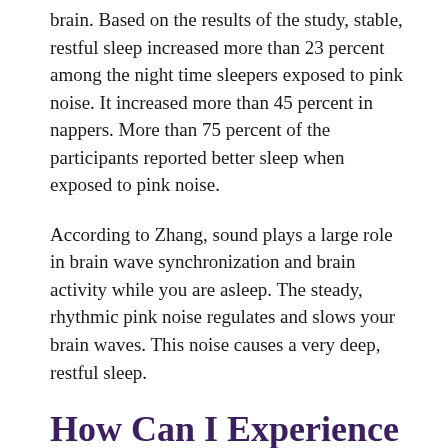brain. Based on the results of the study, stable, restful sleep increased more than 23 percent among the night time sleepers exposed to pink noise. It increased more than 45 percent in nappers. More than 75 percent of the participants reported better sleep when exposed to pink noise.
According to Zhang, sound plays a large role in brain wave synchronization and brain activity while you are asleep. The steady, rhythmic pink noise regulates and slows your brain waves. This noise causes a very deep, restful sleep.
How Can I Experience the Benefits of Pink Noise?
A new product, called SoundOff is a patented small, in-ear headphone set with adjustable ear loops that can be worn